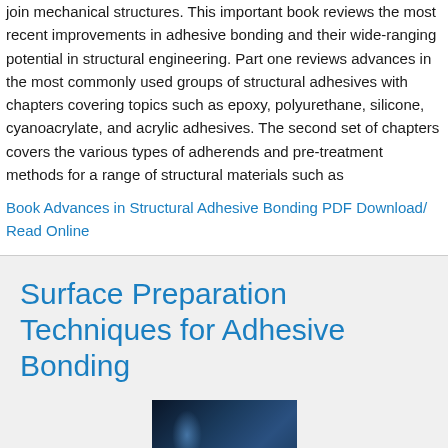join mechanical structures. This important book reviews the most recent improvements in adhesive bonding and their wide-ranging potential in structural engineering. Part one reviews advances in the most commonly used groups of structural adhesives with chapters covering topics such as epoxy, polyurethane, silicone, cyanoacrylate, and acrylic adhesives. The second set of chapters covers the various types of adherends and pre-treatment methods for a range of structural materials such as
Book Advances in Structural Adhesive Bonding PDF Download/ Read Online
Surface Preparation Techniques for Adhesive Bonding
[Figure (photo): Book cover image with dark blue background and Elsevier logo, partially visible at the bottom of the page]